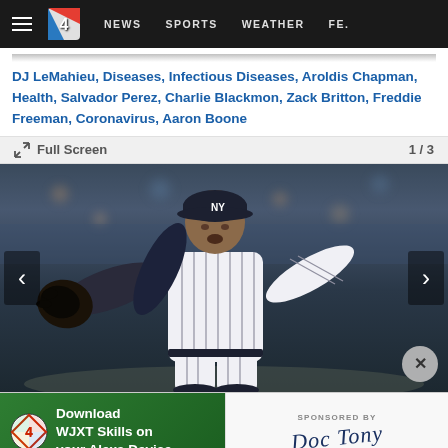NEWS  SPORTS  WEATHER  FE...
DJ LeMahieu, Diseases, Infectious Diseases, Aroldis Chapman, Health, Salvador Perez, Charlie Blackmon, Zack Britton, Freddie Freeman, Coronavirus, Aaron Boone
Full Screen  1 / 3
[Figure (photo): Baseball pitcher in New York Yankees pinstripe uniform mid-throw, wearing black glove and cap, photographed against blurred crowd background]
[Figure (logo): Advertisement banner: Download WJXT Skills on your Alexa Device. Sponsored by Doc Tony signature logo.]